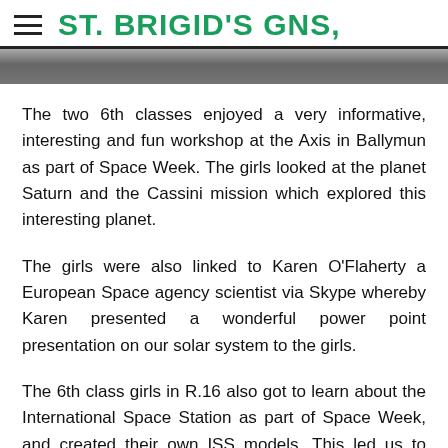ST. BRIGID'S GNS,
[Figure (photo): A photo strip/banner image at the top of the page, partially visible]
The two 6th classes enjoyed a very informative, interesting and fun workshop at the Axis in Ballymun as part of Space Week. The girls looked at the planet Saturn and the Cassini mission which explored this interesting planet.
The girls were also linked to Karen O'Flaherty a European Space agency scientist via Skype whereby Karen presented a wonderful power point presentation on our solar system to the girls.
The 6th class girls in R.16 also got to learn about the International Space Station as part of Space Week, and created their own ISS models. This led us to creating our